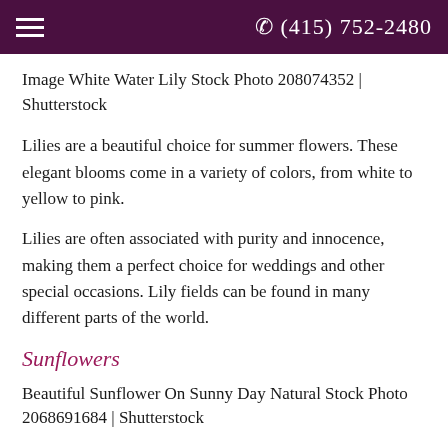(415) 752-2480
Image White Water Lily Stock Photo 208074352 | Shutterstock
Lilies are a beautiful choice for summer flowers. These elegant blooms come in a variety of colors, from white to yellow to pink.
Lilies are often associated with purity and innocence, making them a perfect choice for weddings and other special occasions. Lily fields can be found in many different parts of the world.
Sunflowers
Beautiful Sunflower On Sunny Day Natural Stock Photo 2068691684 | Shutterstock
Sunflowers are the perfect summertime flower.